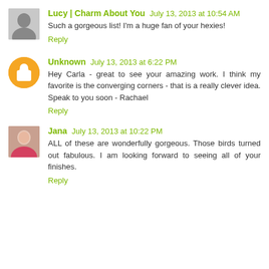Lucy | Charm About You — July 13, 2013 at 10:54 AM
Such a gorgeous list! I'm a huge fan of your hexies!
Reply
Unknown — July 13, 2013 at 6:22 PM
Hey Carla - great to see your amazing work. I think my favorite is the converging corners - that is a really clever idea. Speak to you soon - Rachael
Reply
Jana — July 13, 2013 at 10:22 PM
ALL of these are wonderfully gorgeous. Those birds turned out fabulous. I am looking forward to seeing all of your finishes.
Reply